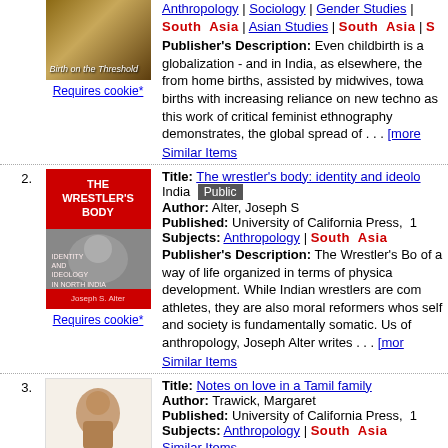Anthropology | Sociology | Gender Studies | South Asia | Asian Studies | South Asia | S
Publisher's Description: Even childbirth is affected by globalization - and in India, as elsewhere, the shift from home births, assisted by midwives, towards births with increasing reliance on new technologies, as this work of critical feminist ethnography demonstrates, the global spread of . . . [more
Similar Items
2. The wrestler's body: identity and ideology in India [Public] Author: Alter, Joseph S Published: University of California Press, 1... Subjects: Anthropology | South Asia Publisher's Description: The Wrestler's Body... of a way of life organized in terms of physical development. While Indian wrestlers are competitive athletes, they are also moral reformers whose self and society is fundamentally somatic. Using tools of anthropology, Joseph Alter writes . . . [more Similar Items
3. Notes on love in a Tamil family Author: Trawick, Margaret Published: University of California Press, 1... Subjects: Anthropology | South Asia Similar Items